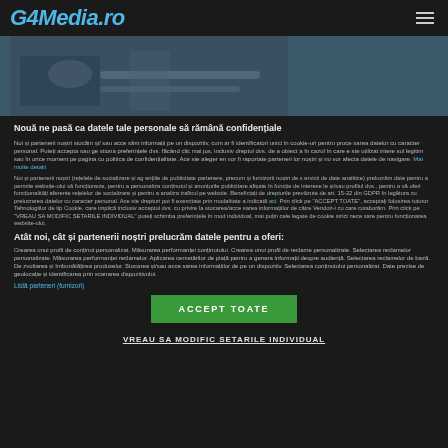G4Media.ro
[Figure (photo): Medical/hospital scene showing a person lying on a table being treated, blueish-gray tones, partial view]
Nouă ne pasă ca datele tale personale să rămână confidențiale
Noi și partenerii noștri stocăm și/sau accesăm informații pe un dispozitiv, cum ar fi identificatori unici în cookie-uri pentru procesarea datelor cu caracter personal. Puteți accepta sau gestiona preferințele dvs. făcând clic mai jos, inclusiv dreptul dvs. de a obiecta în cazul în care este utilizat interesul legitim sau în orice moment pe pagina cu politica de confidențialitate. Aceste alegeri vor fi raportate partenerilor noștri și nu vor afecta datele de navigare. Mai multe detalii
Noi și partenerii noștri (rețelele de socializare și agențiile de publicitate partenere, precum și furnizorii noștri de servicii de date analitice) prelucrăm date pentru a permite website-ului să funcționeze, pentru a personaliza conținutul și anunțurile publicitare afișate în funcție de interesele și/sau profilul dvs., pentru a vă oferi funcționalități aferente rețelelor de socializare și pentru a analiza traficul pe website. Beneficiați de drepturile prevăzute de art. 15-22 din GDPR în legătură cu prelucrarea datelor cu caracter personal. Aceste drepturi pot fi exercitate prin modalitatea indicată aici. Prin click pe "ACCEPT TOATE", acceptați folosirea tuturor Tehnologiilor de tip Cookie, care implică inclusiv acceptul dvs. cu privire la stocarea/accesarea informațiilor de către Vendori-i cu care colaborăm. Prin click pe "VREAU SA MODIFIC SETARILE INDIVIDUAL" puteți schimba preferințele în mod individual, mai puțin cele legate de cookie strict necesare pentru funcționarea website-ului.
Atât noi, cât și partenerii noștri prelucrăm datele pentru a oferi:
Crearea unui profil de conținut personalizat. Măsurarea performanței conținutului. Crearea unui profil de reclame personalizate. Selectarea reclamelor personalizate. Măsurarea performanței reclamelor. Aplicarea cercetărilor de piață pentru a genera informații despre audiență. Selectarea reclamelor de bază. Dezvoltarea și îmbunătățirea produselor. Stocarea și/sau accesarea informațiilor de pe un dispozitiv. Selectarea conținutului personalizat. Date precise de geolocație și identificarea prin scanarea dispozitivului.
Listă parteneri (furnizori)
ACCEPT TOATE
VREAU SA MODIFIC SETARILE INDIVIDUAL